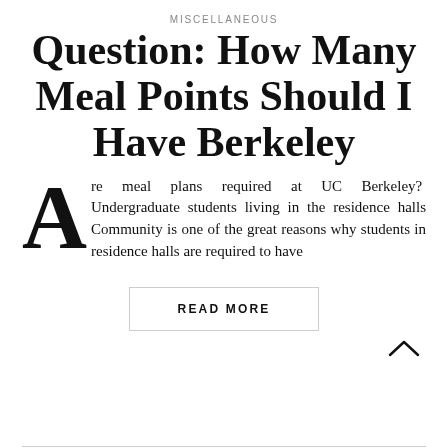MISCELLANEOUS
Question: How Many Meal Points Should I Have Berkeley
Are meal plans required at UC Berkeley? Undergraduate students living in the residence halls Community is one of the great reasons why students in residence halls are required to have
READ MORE